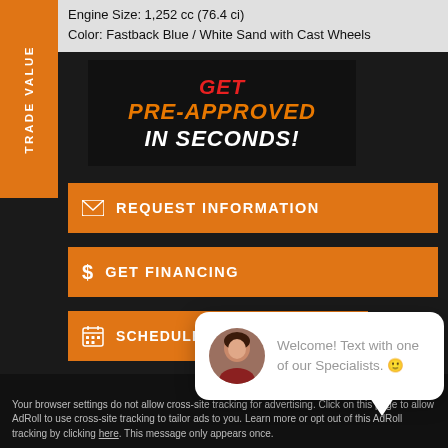Engine Size: 1,252 cc (76.4 ci)
Color: Fastback Blue / White Sand with Cast Wheels
[Figure (infographic): Dark banner with red 'GET', orange 'PRE-APPROVED', and white 'IN SECONDS!' text on black background]
REQUEST INFORMATION
GET FINANCING
SCHEDULE A TEST RIDE
SEE [more]
close
[Figure (photo): Chat popup with woman avatar photo and welcome text]
Welcome! Text with one of our Specialists. 🙂
TRADE VALUE
Accept and Close ✕
Your browser settings do not allow cross-site tracking for advertising. Click on this page to allow AdRoll to use cross-site tracking to tailor ads to you. Learn more or opt out of this AdRoll tracking by clicking here. This message only appears once.